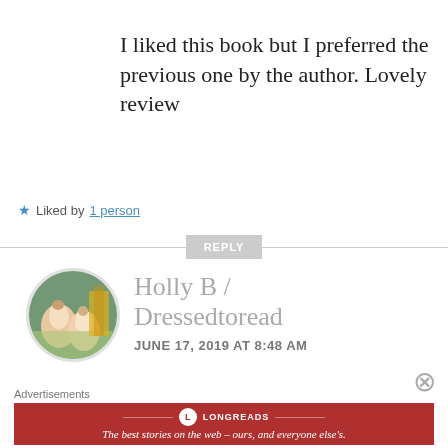I liked this book but I preferred the previous one by the author. Lovely review
★ Liked by 1 person
REPLY
Holly B / Dressedtoread
JUNE 17, 2019 AT 8:48 AM
Advertisements
LONGREADS – The best stories on the web – ours, and everyone else's.